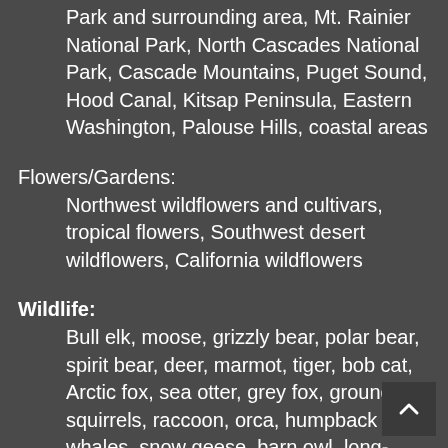Park and surrounding area, Mt. Rainier National Park, North Cascades National Park, Cascade Mountains, Puget Sound, Hood Canal, Kitsap Peninsula, Eastern Washington, Palouse Hills, coastal areas
Flowers/Gardens:
Northwest wildflowers and cultivars, tropical flowers, Southwest desert wildflowers, California wildflowers
Wildlife:
Bull elk, moose, grizzly bear, polar bear, spirit bear, deer, marmot, tiger, bob cat, Arctic fox, sea otter, grey fox, ground squirrels, raccoon, orca, humpback whales, snow geese, barn owl, long-eared owl, great horned owl, screech owl, bald